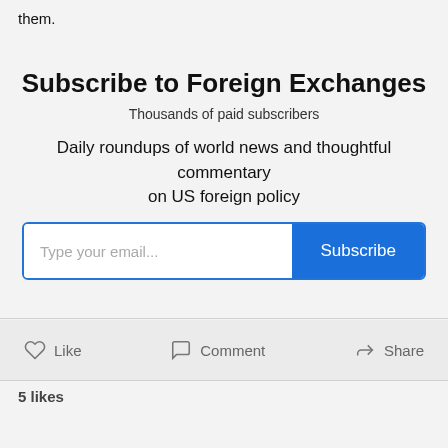them.
Subscribe to Foreign Exchanges
Thousands of paid subscribers
Daily roundups of world news and thoughtful commentary on US foreign policy
5 likes